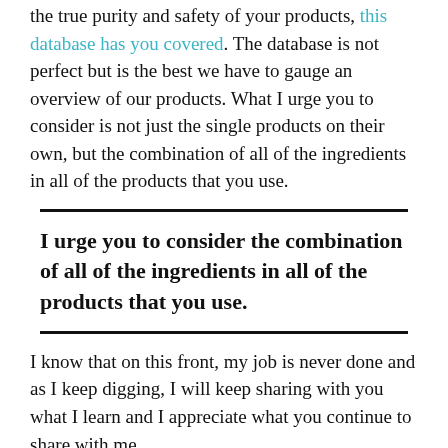the true purity and safety of your products, this database has you covered. The database is not perfect but is the best we have to gauge an overview of our products. What I urge you to consider is not just the single products on their own, but the combination of all of the ingredients in all of the products that you use.
I urge you to consider the combination of all of the ingredients in all of the products that you use.
I know that on this front, my job is never done and as I keep digging, I will keep sharing with you what I learn and I appreciate what you continue to share with me.